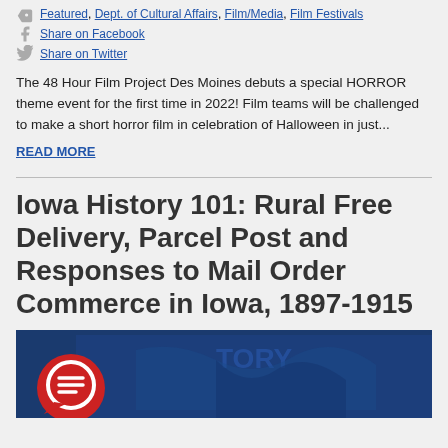Featured, Dept. of Cultural Affairs, Film/Media, Film Festivals
Share on Facebook
Share on Twitter
The 48 Hour Film Project Des Moines debuts a special HORROR theme event for the first time in 2022! Film teams will be challenged to make a short horror film in celebration of Halloween in just...
READ MORE
Iowa History 101: Rural Free Delivery, Parcel Post and Responses to Mail Order Commerce in Iowa, 1897-1915
[Figure (illustration): Blue-tinted illustration with a red chat bubble icon in the lower left corner, depicting a historical Iowa scene related to mail/delivery.]